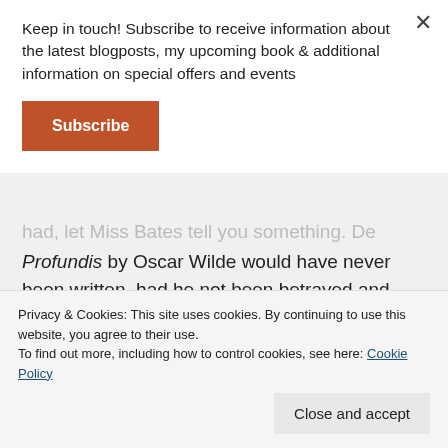Keep in touch! Subscribe to receive information about the latest blogposts, my upcoming book & additional information on special offers and events
Subscribe
had, let Miss Batescold you something. De Profundis by Oscar Wilde would have never been written, had he not been betrayed and sold by someone he loved and thought of as a partner. Does this now mean we need to search for struggle and suffering in order to be great artists
Privacy & Cookies: This site uses cookies. By continuing to use this website, you agree to their use.
To find out more, including how to control cookies, see here: Cookie Policy
Close and accept
format.